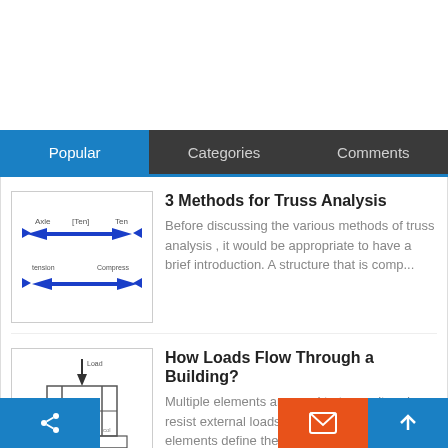Popular | Categories | Comments
3 Methods for Truss Analysis
Before discussing the various methods of truss analysis , it would be appropriate to have a brief introduction. A structure that is comp...
[Figure (engineering-diagram): Truss member force diagram showing tension and compression arrows in blue]
How Loads Flow Through a Building?
Multiple elements are used to transmit and resist external loads within a building . These elements define the mechanism of load transfer i...
[Figure (engineering-diagram): Building structure load flow diagram showing downward load arrow and structural frame with foundation]
Landslides
m "landslide" describes a wide variety of proc... n the downward and outward movement of s...